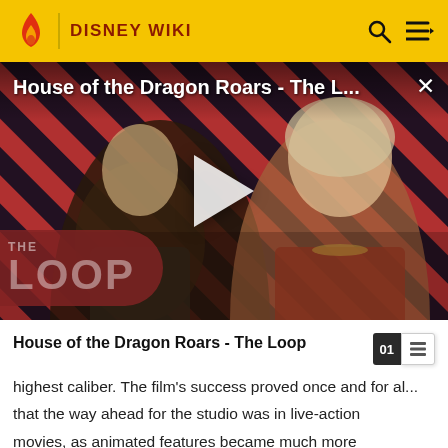DISNEY WIKI
[Figure (screenshot): Video thumbnail for 'House of the Dragon Roars - The Loop' showing two characters against a diagonal red and dark stripe background with a play button in the center and 'THE LOOP' logo at bottom left]
House of the Dragon Roars - The Loop
highest caliber. The film's success proved once and for all that the way ahead for the studio was in live-action movies, as animated features became much more